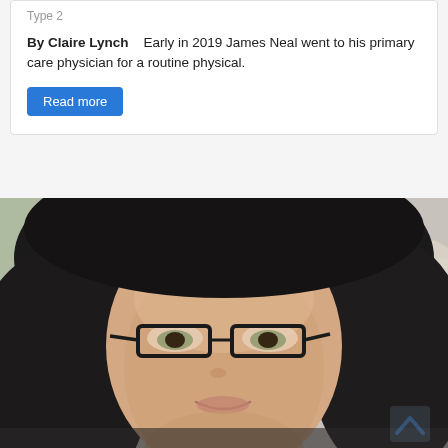Type 2
By Claire Lynch    Early in 2019 James Neal went to his primary care physician for a routine physical.
Read more
[Figure (photo): Portrait photo of a dark-haired woman with black-framed glasses, smiling slightly, seated in a car interior with beige/grey upholstery visible in the background.]